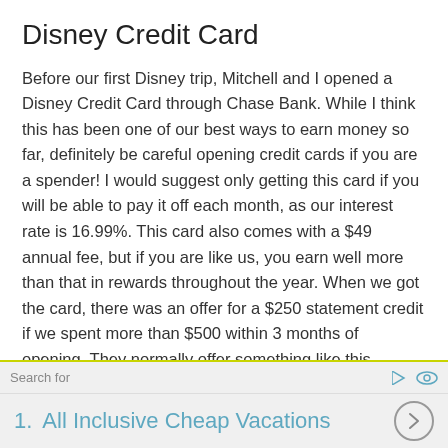Disney Credit Card
Before our first Disney trip, Mitchell and I opened a Disney Credit Card through Chase Bank. While I think this has been one of our best ways to earn money so far, definitely be careful opening credit cards if you are a spender! I would suggest only getting this card if you will be able to pay it off each month, as our interest rate is 16.99%. This card also comes with a $49 annual fee, but if you are like us, you earn well more than that in rewards throughout the year. When we got the card, there was an offer for a $250 statement credit if we spent more than $500 within 3 months of opening. They normally offer something like this
Search for | 1. All Inclusive Cheap Vacations